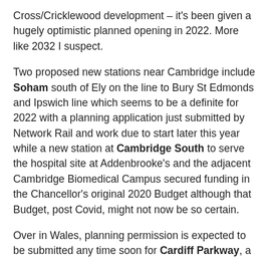Cross/Cricklewood development – it's been given a hugely optimistic planned opening in 2022. More like 2032 I suspect.
Two proposed new stations near Cambridge include Soham south of Ely on the line to Bury St Edmonds and Ipswich line which seems to be a definite for 2022 with a planning application just submitted by Network Rail and work due to start later this year while a new station at Cambridge South to serve the hospital site at Addenbrooke's and the adjacent Cambridge Biomedical Campus secured funding in the Chancellor's original 2020 Budget although that Budget, post Covid, might not now be so certain.
Over in Wales, planning permission is expected to be submitted any time soon for Cardiff Parkway, a